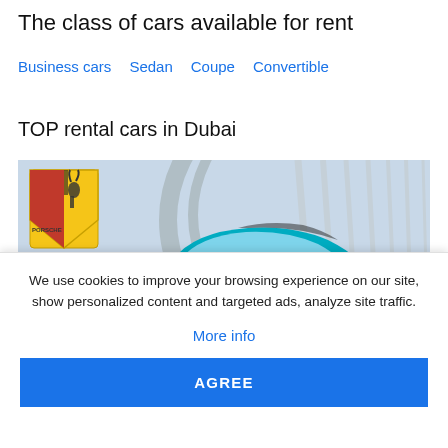The class of cars available for rent
Business cars
Sedan
Coupe
Convertible
TOP rental cars in Dubai
[Figure (photo): A cyan/turquoise Porsche sports car parked in a modern architectural setting with curved white structural elements in the background. A Porsche logo shield is visible in the upper left corner of the image.]
We use cookies to improve your browsing experience on our site, show personalized content and targeted ads, analyze site traffic.
More info
AGREE